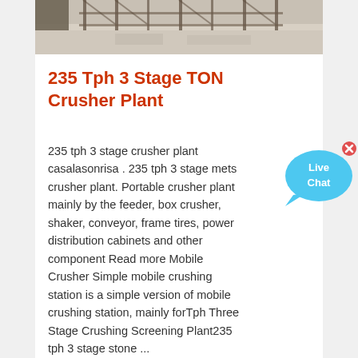[Figure (photo): Construction site photo showing scaffolding, concrete work, and building materials from above]
235 Tph 3 Stage TON Crusher Plant
235 tph 3 stage crusher plant casalasonrisa . 235 tph 3 stage mets crusher plant. Portable crusher plant mainly by the feeder, box crusher, shaker, conveyor, frame tires, power distribution cabinets and other component Read more Mobile Crusher Simple mobile crushing station is a simple version of mobile crushing station, mainly forTph Three Stage Crushing Screening Plant235 tph 3 stage stone ...
[Figure (illustration): Live Chat button widget — blue speech bubble with 'Live Chat' text and an X close button]